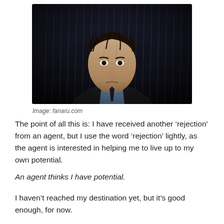[Figure (photo): A man in a dark suit with a blue shirt standing in the rain, looking sad or distressed, with rain streaking down in the background. Dark, moody cinematic lighting.]
Image: fanaru.com
The point of all this is: I have received another ‘rejection’ from an agent, but I use the word ‘rejection’ lightly, as the agent is interested in helping me to live up to my own potential.
An agent thinks I have potential.
I haven’t reached my destination yet, but it’s good enough, for now.